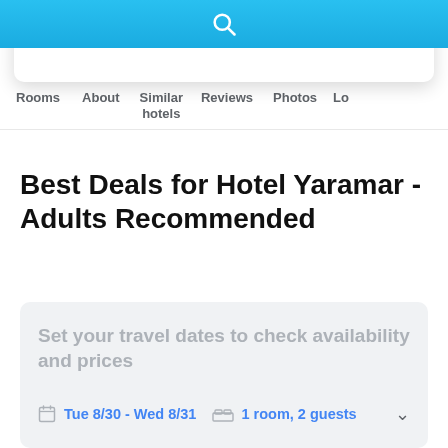[Figure (screenshot): Blue search bar with white search icon at top of page]
Rooms | About | Similar hotels | Reviews | Photos | Lo...
Best Deals for Hotel Yaramar - Adults Recommended
Set your travel dates to check availability and prices
Tue 8/30 - Wed 8/31   1 room, 2 guests